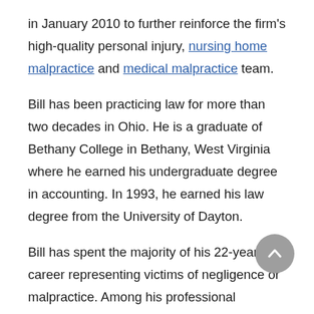in January 2010 to further reinforce the firm's high-quality personal injury, nursing home malpractice and medical malpractice team.
Bill has been practicing law for more than two decades in Ohio. He is a graduate of Bethany College in Bethany, West Virginia where he earned his undergraduate degree in accounting. In 1993, he earned his law degree from the University of Dayton.
Bill has spent the majority of his 22-year career representing victims of negligence or malpractice. Among his professional memberships are the American Association...